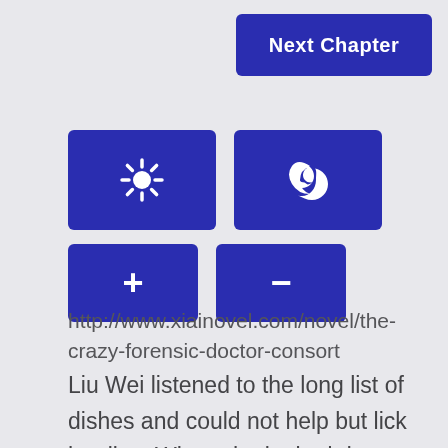[Figure (screenshot): UI control buttons: Next Chapter button (blue, top right), brightness/day-night mode toggle buttons (two large blue icon buttons), and font size +/- buttons (two smaller blue buttons)]
http://www.xiainovel.com/novel/the-crazy-forensic-doctor-consort
Liu Wei listened to the long list of dishes and could not help but lick her lips. When she looked down and saw her son, she saw him impatiently staring at the shopkeeper as his throat moved